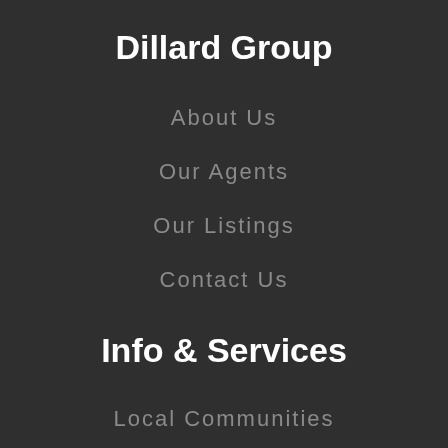Dillard Group
About Us
Our Agents
Our Listings
Contact Us
Info & Services
Local Communities
Home Evaluation
Search Listings